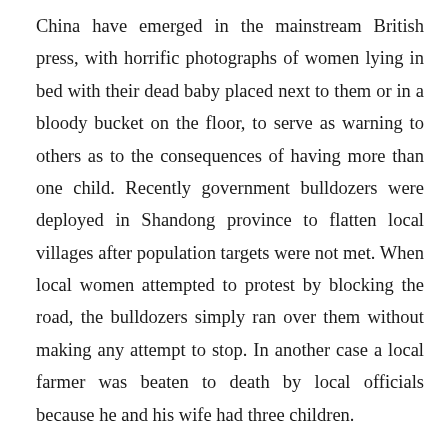China have emerged in the mainstream British press, with horrific photographs of women lying in bed with their dead baby placed next to them or in a bloody bucket on the floor, to serve as warning to others as to the consequences of having more than one child. Recently government bulldozers were deployed in Shandong province to flatten local villages after population targets were not met. When local women attempted to protest by blocking the road, the bulldozers simply ran over them without making any attempt to stop. In another case a local farmer was beaten to death by local officials because he and his wife had three children.
The Chancellor of the Exchequer, George Osborne has